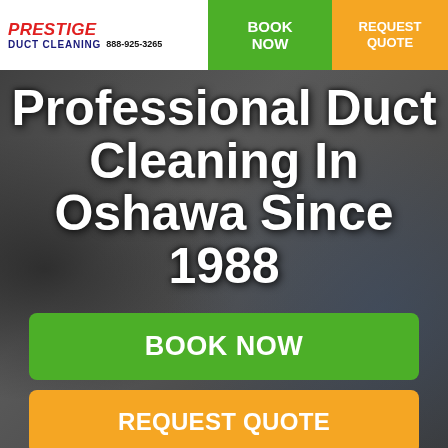Prestige Duct Cleaning | 888-925-3265 | BOOK NOW | REQUEST QUOTE
Professional Duct Cleaning In Oshawa Since 1988
BOOK NOW
REQUEST QUOTE
CURRENT OFFERS